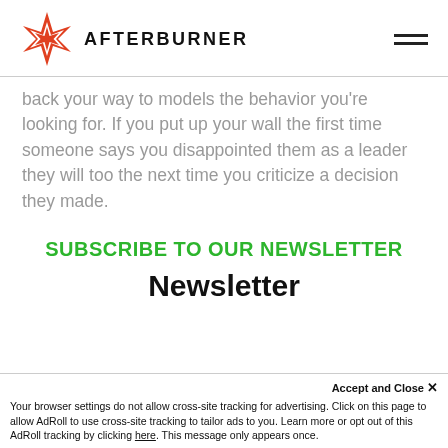AFTERBURNER
back your way to models the behavior you're looking for. If you put up your wall the first time someone says you disappointed them as a leader they will too the next time you criticize a decision they made.
SUBSCRIBE TO OUR NEWSLETTER
Newsletter
Accept and Close ×
Your browser settings do not allow cross-site tracking for advertising. Click on this page to allow AdRoll to use cross-site tracking to tailor ads to you. Learn more or opt out of this AdRoll tracking by clicking here. This message only appears once.